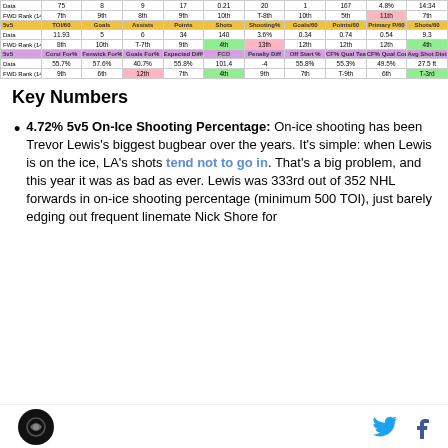|  | TOI/60 | Goals | Assists | Points | Shots | Shooting% | Goals/60 | Points/60 | Primary P/60 | Shots/60 |
| --- | --- | --- | --- | --- | --- | --- | --- | --- | --- | --- |
| Data | 75 | 8 | 9 | 17 | 0.21 | 20 | 1 | 167 | 4.8% | 14:34 |
| FWD Rank (14) | 7th | 9th | 8th | 9th | 10th | T-8th | 10th | 5th | 11th | 7th |
| 5v5 | TOI/60 | Goals | Assists | Points | Shots | Shooting% | Goals/60 | Points/60 | Primary P/60 | Shots/60 |
| Data | 11.93 | 5 | 6 | 34 | 140 | 3.6% | 0.34 | 0.74 | 0.54 | 9.3 |
| FWD Rank (14) | 8th | 10th | T-7th | 9th | 4th | 13th | 12th | 12th | 12th | 4th |
| 5v5 | Corsi For% | Fenwick For% | Goals For% | Expected Diff% | FCO | Penalty Diff | Off Start % | CF% Qual Team | CF% Qual Comp | Avg Shot Dist |
| Data | 55.7% | 57.6% | 40.7% | 55.8% | 101.4 | -4 | 55.8% | 55.3% | 49.5% | 27.5 ft |
| FWD Rank (14) | 9th | 6th | 12th | 7th | 4th | 9th | 7th | T-9th | 6th | T-3rd |
Key Numbers
4.72% 5v5 On-Ice Shooting Percentage: On-ice shooting has been Trevor Lewis's biggest bugbear over the years. It's simple: when Lewis is on the ice, LA's shots tend not to go in. That's a big problem, and this year it was as bad as ever. Lewis was 333rd out of 352 NHL forwards in on-ice shooting percentage (minimum 500 TOI), just barely edging out frequent linemate Nick Shore for
Logo | Twitter | Facebook